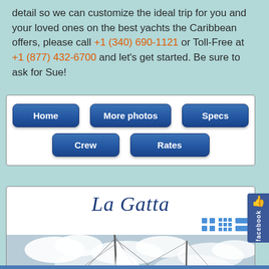detail so we can customize the ideal trip for you and your loved ones on the best yachts the Caribbean offers, please call +1 (340) 690-1121 or Toll-Free at +1 (877) 432-6700 and let's get started. Be sure to ask for Sue!
[Figure (screenshot): Navigation menu with buttons: Home, More photos, Specs, Crew, Rates]
La Gatta
[Figure (photo): Photograph of a sailing yacht mast and rigging against a cloudy sky]